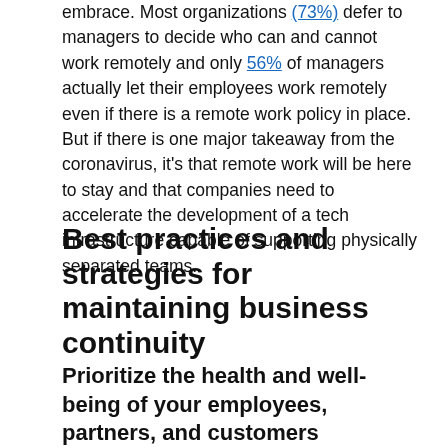embrace. Most organizations (73%) defer to managers to decide who can and cannot work remotely and only 56% of managers actually let their employees work remotely even if there is a remote work policy in place. But if there is one major takeaway from the coronavirus, it's that remote work will be here to stay and that companies need to accelerate the development of a tech infrastructure capable of supporting physically separated teams.
Best practices and strategies for maintaining business continuity
Prioritize the health and well-being of your employees, partners, and customers